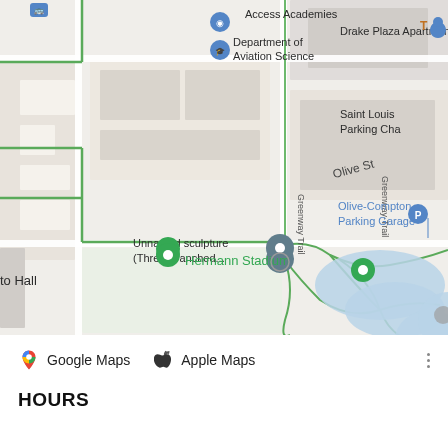[Figure (map): Google Maps screenshot showing area around Hermann Stadium and Unnamed sculpture (Three Branched...) in Saint Louis. Shows Access Academies, Department of Aviation Science, Drake Plaza Apartments, Olive-Compton Parking Garage, Saint Louis Parking Cha, Greenway Trail, Olive St, and blue water bodies. Green pin markers visible for Hermann Stadium and another location. Gray location pin for the unnamed sculpture.]
Google Maps  Apple Maps
HOURS